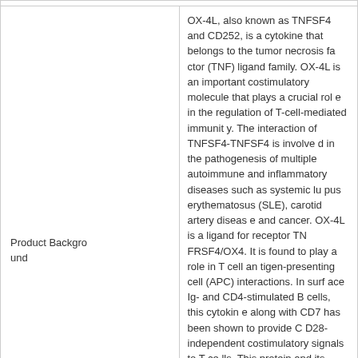| Product Background | OX-4L, also known as TNFSF4 and CD252, is a cytokine that belongs to the tumor necrosis factor (TNF) ligand family. OX-4L is an important costimulatory molecule that plays a crucial role in the regulation of T-cell-mediated immunity. The interaction of TNFSF4-TNFSF4 is involved in the pathogenesis of multiple autoimmune and inflammatory diseases such as systemic lupus erythematosus (SLE), carotid artery disease and cancer. OX-4L is a ligand for receptor TNFRSF4/OX4. It is found to play a role in T cell antigen-presenting cell (APC) interactions. In surface Ig- and CD4-stimulated B cells, this cytokine along with CD7 has been shown to provide CD28-independent costimulatory signals to T cells. This protein and its receptor are reported to directly mediate adhesion of activated T cells to vascular endothelial cells.Immune CheckpointImmune Checkpoint TargetsCo-stimulatory Immune Checkpoint Targets ImmunotherapyCancer ImmunotherapyTargeted Therapy |
|  | CD134L Protein, Human;CD252 Protein, Huma |